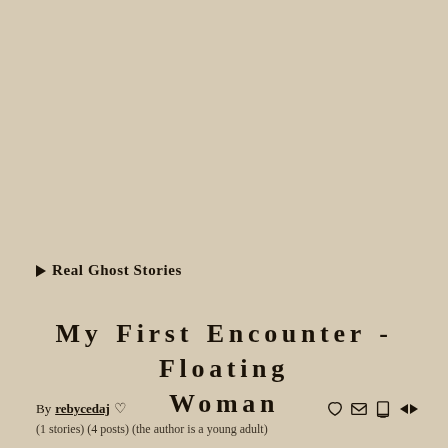Real Ghost Stories
My First Encounter - Floating Woman
By rebycedaj ♡
(1 stories) (4 posts) (the author is a young adult)